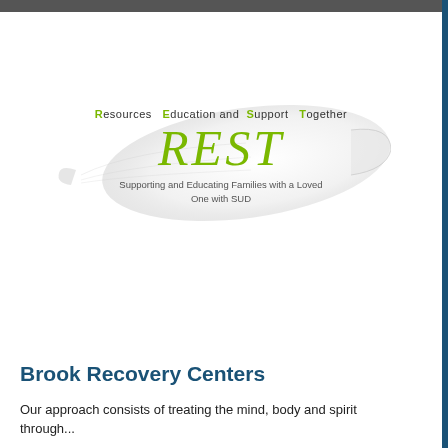[Figure (logo): REST logo featuring a white feather in the background with the text 'Resources Education and Support Together' above and 'REST' in large green italic script font, with tagline 'Supporting and Educating Families with a Loved One with SUD' below]
Brook Recovery Centers
Our approach consists of treating the mind, body and spirit through...